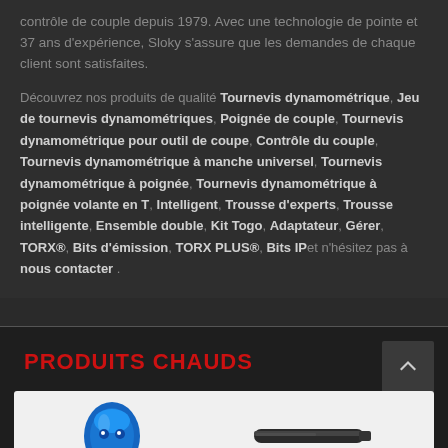contrôle de couple depuis 1979. Avec une technologie de pointe et 37 ans d'expérience, Sloky s'assure que les demandes de chaque client sont satisfaites.
Découvrez nos produits de qualité Tournevis dynamométrique, Jeu de tournevis dynamométriques, Poignée de couple, Tournevis dynamométrique pour outil de coupe, Contrôle du couple, Tournevis dynamométrique à manche universel, Tournevis dynamométrique à poignée, Tournevis dynamométrique à poignée volante en T, Intelligent, Trousse d'experts, Trousse intelligente, Ensemble double, Kit Togo, Adaptateur, Gérer, TORX®, Bits d'émission, TORX PLUS®, Bits IP et n'hésitez pas à nous contacter .
PRODUITS CHAUDS
[Figure (photo): Product photo showing blue tool/screwdriver handle items on light background]